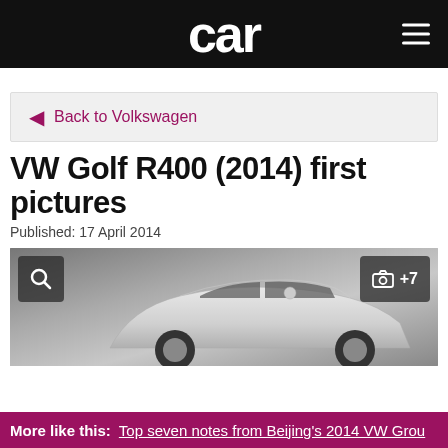car
← Back to Volkswagen
VW Golf R400 (2014) first pictures
Published: 17 April 2014
[Figure (photo): VW Golf R400 2014 car photograph with search icon overlay on left and camera icon with +7 on right]
More like this: Top seven notes from Beijing's 2014 VW Group